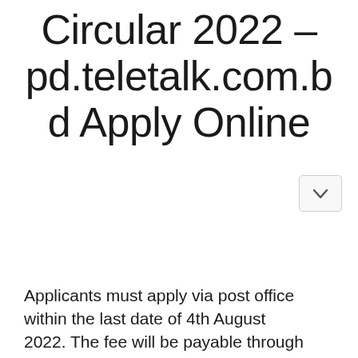Circular 2022 – pd.teletalk.com.bd Apply Online
Applicants must apply via post office within the last date of 4th August 2022. The fee will be payable through the SMS system. Otherwise it will not apply. All information in the application process has been rounded. Download the circular from below and go for a review and application. After successfu